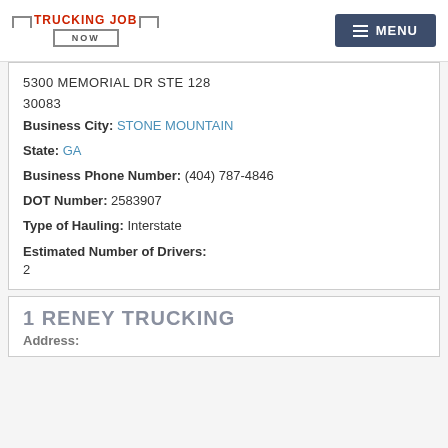TRUCKING JOB NOW — MENU
5300 MEMORIAL DR STE 128
30083
Business City: STONE MOUNTAIN
State: GA
Business Phone Number: (404) 787-4846
DOT Number: 2583907
Type of Hauling: Interstate
Estimated Number of Drivers:
2
1 RENEY TRUCKING
Address: